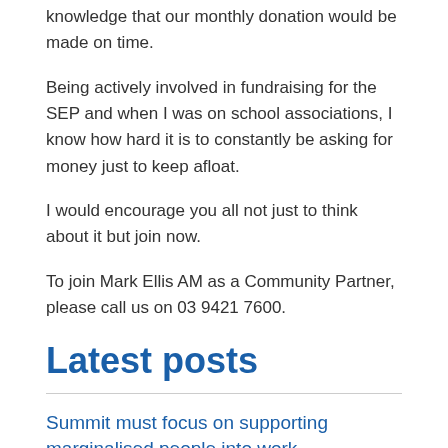knowledge that our monthly donation would be made on time.
Being actively involved in fundraising for the SEP and when I was on school associations, I know how hard it is to constantly be asking for money just to keep afloat.
I would encourage you all not just to think about it but join now.
To join Mark Ellis AM as a Community Partner, please call us on 03 9421 7600.
Latest posts
Summit must focus on supporting marginalised people into work
READ MORE